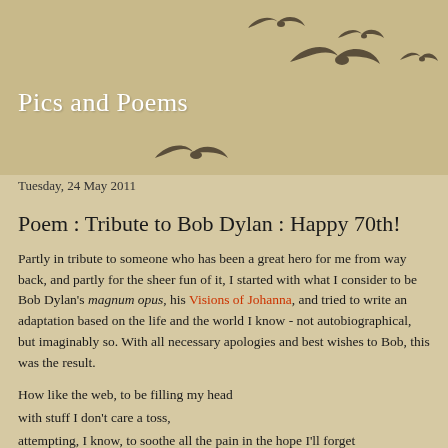[Figure (illustration): Decorative header with silhouettes of flying birds on a tan/beige background]
Pics and Poems
Tuesday, 24 May 2011
Poem : Tribute to Bob Dylan : Happy 70th!
Partly in tribute to someone who has been a great hero for me from way back, and partly for the sheer fun of it, I started with what I consider to be Bob Dylan's magnum opus, his Visions of Johanna, and tried to write an adaptation based on the life and the world I know - not autobiographical, but imaginably so. With all necessary apologies and best wishes to Bob, this was the result.
How like the web, to be filling my head
with stuff I don't care a toss,
attempting, I know, to soothe all the pain in the hope I'll forget
the one thing I'll treasure for ever